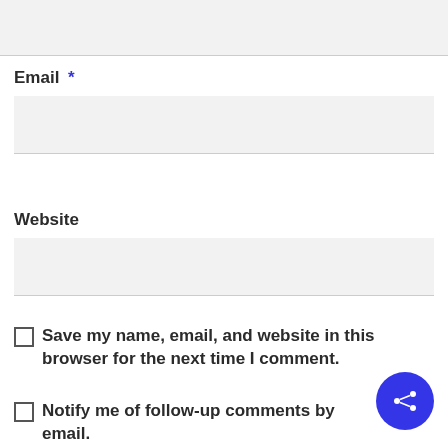(input field - top, partially visible)
Email *
Website
Save my name, email, and website in this browser for the next time I comment.
Notify me of follow-up comments by email.
[Figure (other): Blue circular share/social button with network share icon (three dots connected by lines)]